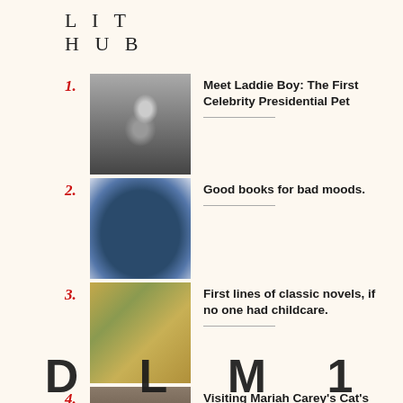LIT HUB
1. Meet Laddie Boy: The First Celebrity Presidential Pet
2. Good books for bad moods.
3. First lines of classic novels, if no one had childcare.
4. Visiting Mariah Carey's Cat's Grave: Reflections on Disenfranchised Grief
D L M 1